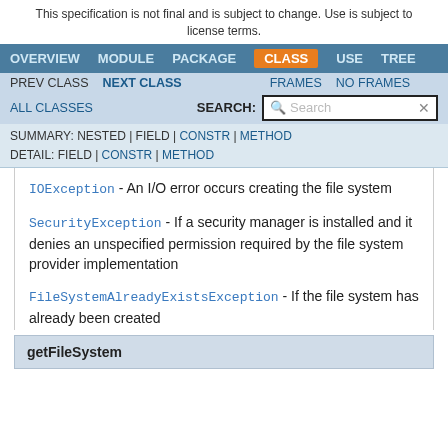This specification is not final and is subject to change. Use is subject to license terms.
IOException - An I/O error occurs creating the file system
SecurityException - If a security manager is installed and it denies an unspecified permission required by the file system provider implementation
FileSystemAlreadyExistsException - If the file system has already been created
getFileSystem